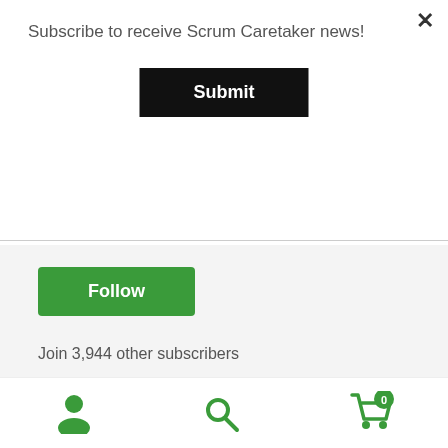Subscribe to receive Scrum Caretaker news!
Submit
Follow
Join 3,944 other subscribers
Have a wonderful summer. Check out some summer reading inspiration! Dismiss